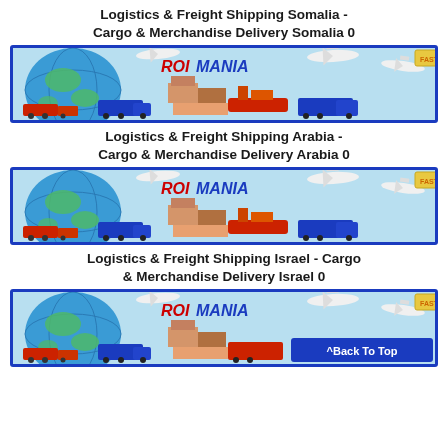Logistics & Freight Shipping Somalia - Cargo & Merchandise Delivery Somalia 0
[Figure (illustration): Romania logistics banner showing airplanes, trucks, cargo ships, a globe, and stacked boxes with ROMANIA text in red and blue]
Logistics & Freight Shipping Arabia - Cargo & Merchandise Delivery Arabia 0
[Figure (illustration): Romania logistics banner showing airplanes, trucks, cargo ships, a globe, and stacked boxes with ROMANIA text in red and blue]
Logistics & Freight Shipping Israel - Cargo & Merchandise Delivery Israel 0
[Figure (illustration): Romania logistics banner showing airplanes, trucks, cargo ships, a globe, and stacked boxes with ROMANIA text in red and blue, with Back To Top button]